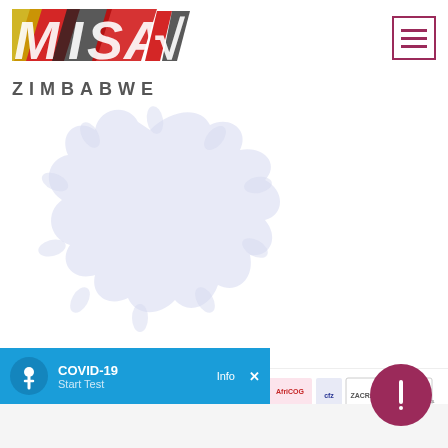[Figure (logo): MISA Zimbabwe logo with stylized letters in red, gold, and dark colors with Zimbabwe text below]
[Figure (illustration): Light blue/lavender coronavirus/virus blob shape with spikes, decorative background element]
[Figure (logo): Row of partner organization logos including MISA Zimbabwe, Press Shield, ZMC, CIE, SIVI, AfriCOG, CFZ, ZACRAS, VMCZ and others]
[Figure (screenshot): COVID-19 notification bar with Start Test button, info and X controls, blue background with person icon]
[Figure (other): Purple circular button/widget in bottom right corner]